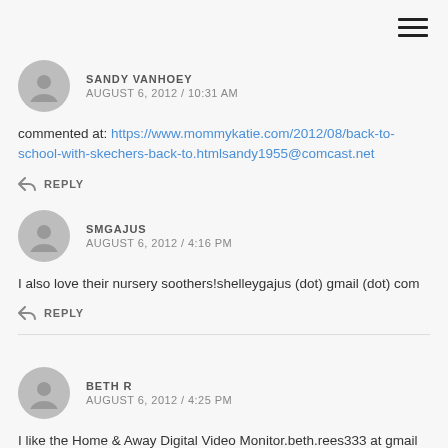≡ (hamburger menu)
SANDY VANHOEY
AUGUST 6, 2012 / 10:31 AM
commented at: https://www.mommykatie.com/2012/08/back-to-school-with-skechers-back-to.htmlsandy1955@comcast.net
↩ REPLY
SMGAJUS
AUGUST 6, 2012 / 4:16 PM
I also love their nursery soothers!shelleygajus (dot) gmail (dot) com
↩ REPLY
BETH R
AUGUST 6, 2012 / 4:25 PM
I like the Home & Away Digital Video Monitor.beth.rees333 at gmail dot